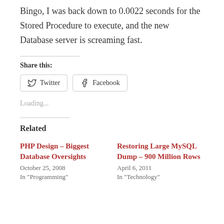Bingo, I was back down to 0.0022 seconds for the Stored Procedure to execute, and the new Database server is screaming fast.
Share this:
Loading...
Related
PHP Design – Biggest Database Oversights
October 25, 2008
In "Programming"
Restoring Large MySQL Dump – 900 Million Rows
April 6, 2011
In "Technology"